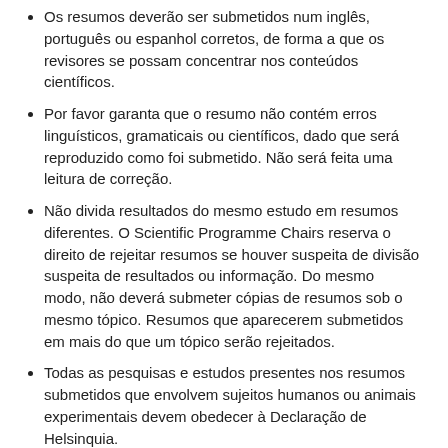Os resumos deverão ser submetidos num inglês, português ou espanhol corretos, de forma a que os revisores se possam concentrar nos conteúdos científicos.
Por favor garanta que o resumo não contém erros linguísticos, gramaticais ou científicos, dado que será reproduzido como foi submetido. Não será feita uma leitura de correção.
Não divida resultados do mesmo estudo em resumos diferentes. O Scientific Programme Chairs reserva o direito de rejeitar resumos se houver suspeita de divisão suspeita de resultados ou informação. Do mesmo modo, não deverá submeter cópias de resumos sob o mesmo tópico. Resumos que aparecerem submetidos em mais do que um tópico serão rejeitados.
Todas as pesquisas e estudos presentes nos resumos submetidos que envolvem sujeitos humanos ou animais experimentais devem obedecer à Declaração de Helsinquia.